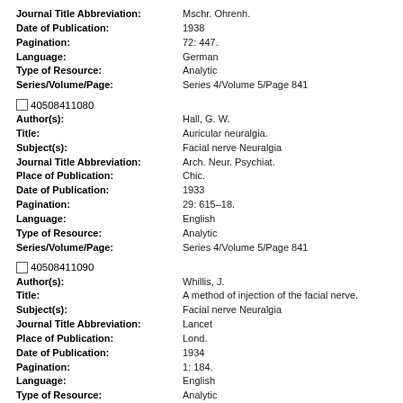Journal Title Abbreviation: Mschr. Ohrenh.
Date of Publication: 1938
Pagination: 72: 447.
Language: German
Type of Resource: Analytic
Series/Volume/Page: Series 4/Volume 5/Page 841
40508411080
Author(s): Hall, G. W.
Title: Auricular neuralgia.
Subject(s): Facial nerve Neuralgia
Journal Title Abbreviation: Arch. Neur. Psychiat.
Place of Publication: Chic.
Date of Publication: 1933
Pagination: 29: 615-18.
Language: English
Type of Resource: Analytic
Series/Volume/Page: Series 4/Volume 5/Page 841
40508411090
Author(s): Whillis, J.
Title: A method of injection of the facial nerve.
Subject(s): Facial nerve Neuralgia
Journal Title Abbreviation: Lancet
Place of Publication: Lond.
Date of Publication: 1934
Pagination: 1: 184.
Language: English
Type of Resource: Analytic
Series/Volume/Page: Series 4/Volume 5/Page 841